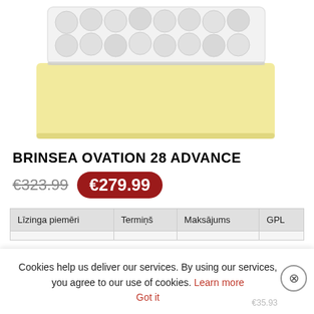[Figure (photo): Product photo of Brinsea Ovation 28 Advance egg incubator — a yellow rectangular box with a clear lid showing multiple white spherical eggs arranged in rows inside.]
BRINSEA OVATION 28 ADVANCE
€323.99  €279.99
| Līzinga piemēri | Termiņš | Maksājums | GPL |
| --- | --- | --- | --- |
|  |  |  |  |
|  |  | €35.93 |  |
Cookies help us deliver our services. By using our services, you agree to our use of cookies. Learn more  Got it